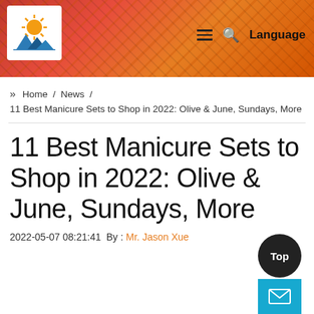[Figure (screenshot): Website header with industrial/port photo background (orange cranes), logo in top-left, hamburger menu, search icon, and Language button in top-right]
» Home / News / 11 Best Manicure Sets to Shop in 2022: Olive & June, Sundays, More
11 Best Manicure Sets to Shop in 2022: Olive & June, Sundays, More
2022-05-07 08:21:41 By : Mr. Jason Xue